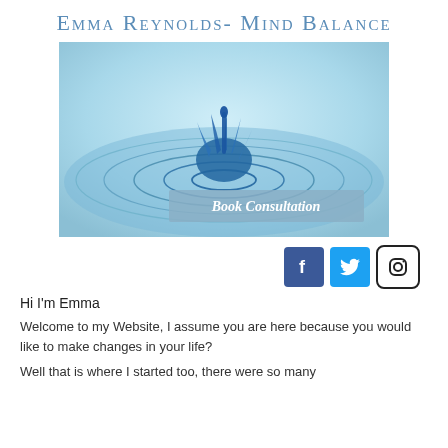Emma Reynolds- Mind Balance
[Figure (photo): Water droplet splash on a rippling blue water surface with a 'Book Consultation' button overlay in a semi-transparent grey-blue banner]
[Figure (infographic): Social media icons: Facebook (dark blue square with 'f'), Twitter (light blue square with bird), Instagram (outline circle/square with camera icon)]
Hi I'm Emma
Welcome to my Website, I assume you are here because you would like to make changes in your life?
Well that is where I started too, there were so many